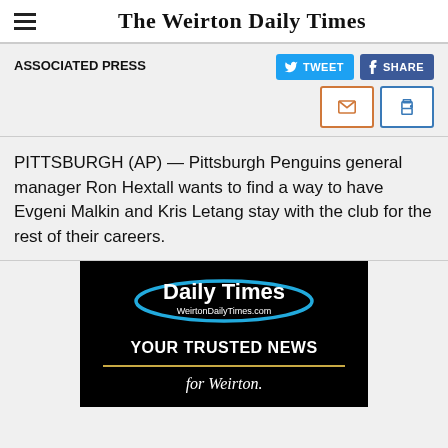The Weirton Daily Times
ASSOCIATED PRESS
PITTSBURGH (AP) — Pittsburgh Penguins general manager Ron Hextall wants to find a way to have Evgeni Malkin and Kris Letang stay with the club for the rest of their careers.
[Figure (advertisement): Daily Times / WeirtonDailyTimes.com advertisement. Black background with blue oval logo. Text: 'YOUR TRUSTED NEWS for Weirton.']